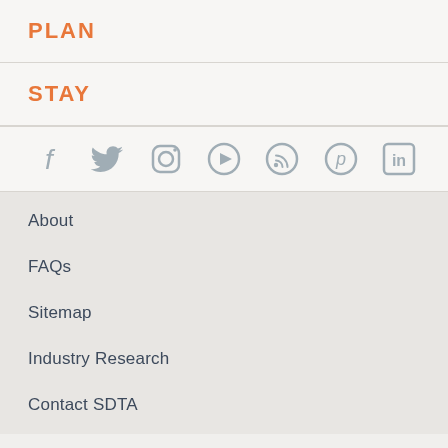PLAN
STAY
[Figure (infographic): Social media icons row: Facebook, Twitter, Instagram, YouTube, RSS, Pinterest, LinkedIn — all in muted blue-gray color]
About
FAQs
Sitemap
Industry Research
Contact SDTA